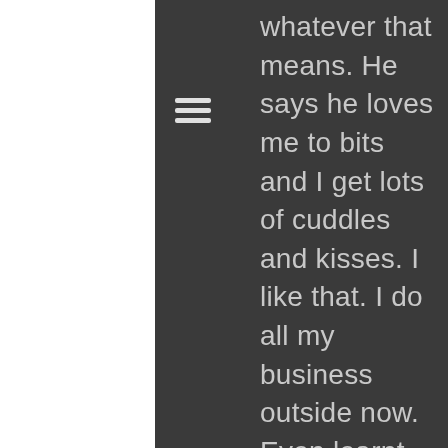[Figure (other): Hamburger menu icon (three horizontal white lines)]
whatever that means. He says he loves me to bits and I get lots of cuddles and kisses. I like that. I do all my business outside now. Even learnt when dad says 'wee on the grass'...I wee and he is